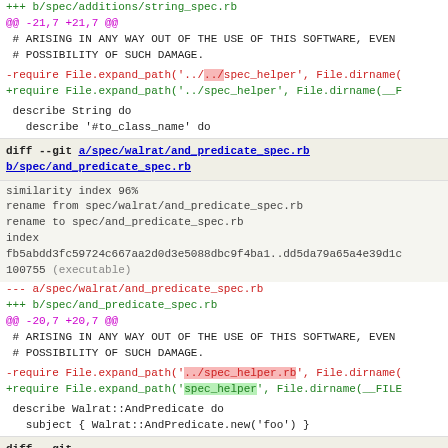+++ b/spec/additions/string_spec.rb
@@ -21,7 +21,7 @@
# ARISING IN ANY WAY OUT OF THE USE OF THIS SOFTWARE, EVEN
 # POSSIBILITY OF SUCH DAMAGE.
-require File.expand_path('../[../]spec_helper', File.dirname(
+require File.expand_path('../spec_helper', File.dirname(__F
describe String do
   describe '#to_class_name' do
diff --git a/spec/walrat/and_predicate_spec.rb b/spec/and_predicate_spec.rb
similarity index 96%
rename from spec/walrat/and_predicate_spec.rb
rename to spec/and_predicate_spec.rb
index
fb5abdd3fc59724c667aa2d0d3e5088dbc9f4ba1..dd5da79a65a4e39d1c
100755 (executable)
--- a/spec/walrat/and_predicate_spec.rb
+++ b/spec/and_predicate_spec.rb
@@ -20,7 +20,7 @@
# ARISING IN ANY WAY OUT OF THE USE OF THIS SOFTWARE, EVEN
 # POSSIBILITY OF SUCH DAMAGE.
-require File.expand_path('../spec_helper.rb', File.dirname(
+require File.expand_path('spec_helper', File.dirname(__FILE
describe Walrat::AndPredicate do
   subject { Walrat::AndPredicate.new('foo') }
diff --git